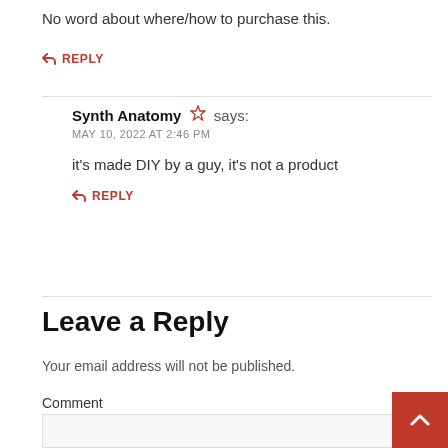No word about where/how to purchase this.
↩ REPLY
Synth Anatomy ☆ says:
MAY 10, 2022 AT 2:46 PM
it's made DIY by a guy, it's not a product
↩ REPLY
Leave a Reply
Your email address will not be published.
Comment